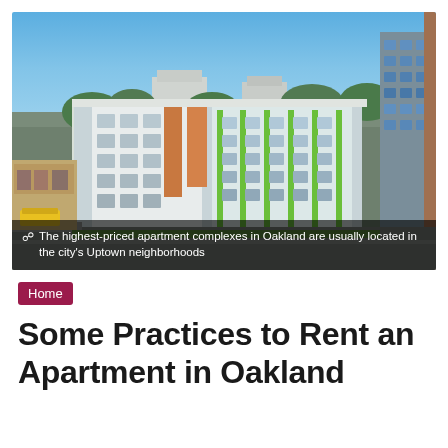[Figure (photo): Aerial view of a multi-story apartment complex in Oakland with colorful green and white facade, blue sky, surrounding urban neighborhood with streets and other buildings including a tall tower under construction on the right]
The highest-priced apartment complexes in Oakland are usually located in the city's Uptown neighborhoods
Home
Some Practices to Rent an Apartment in Oakland